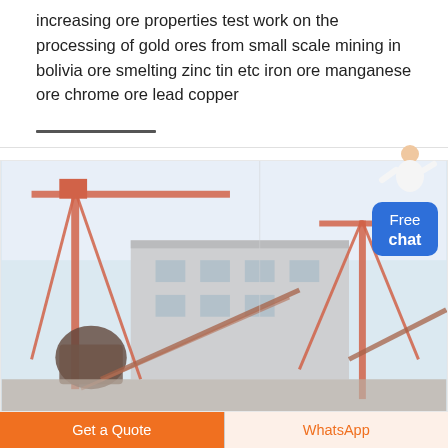increasing ore properties test work on the processing of gold ores from small scale mining in bolivia ore smelting zinc tin etc iron ore manganese ore chrome ore lead copper
[Figure (photo): Industrial mining facility with large red metal cranes, conveyor structures, and a grey industrial building in the background under a hazy sky.]
Get a Quote
WhatsApp